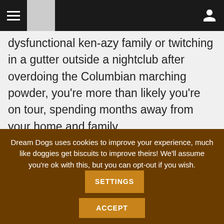Navigation header with hamburger menu, logo box, and user icon
dysfunctional ken-azy family or twitching in a gutter outside a nightclub after overdoing the Columbian marching powder, you're more than likely you're on tour, spending months away from your home and family.

This hardly seems like the behaviour of a conscientious dog owner. We all know that your pet needs love and attention, not to mention feeding,
Dream Dogs uses cookies to improve your experience, much like doggies get biscuits to improve theirs! We'll assume you're ok with this, but you can opt-out if you wish.
SETTINGS
ACCEPT